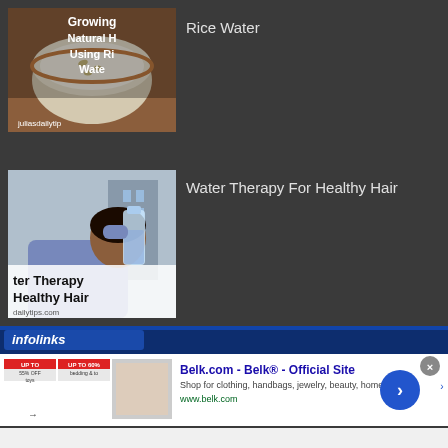[Figure (photo): Thumbnail image of rice water in a bowl with text 'Growing Natural Hair Using Rice Water' and watermark 'juliasdailytips']
Rice Water
[Figure (photo): Thumbnail image of a woman drinking from a water bottle with text 'Water Therapy For Healthy Hair' and watermark 'dailytips.com']
Water Therapy For Healthy Hair
[Figure (screenshot): Infolinks ad bar with 'infolinks' branding in blue, followed by Belk.com advertisement: 'Belk.com - Belk® - Official Site', 'Shop for clothing, handbags, jewelry, beauty, home & more!', 'www.belk.com']